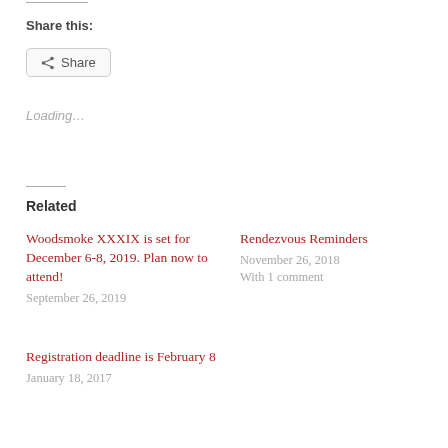Share this:
Share
Loading…
Related
Woodsmoke XXXIX is set for December 6-8, 2019. Plan now to attend!
September 26, 2019
Rendezvous Reminders
November 26, 2018
With 1 comment
Registration deadline is February 8
January 18, 2017